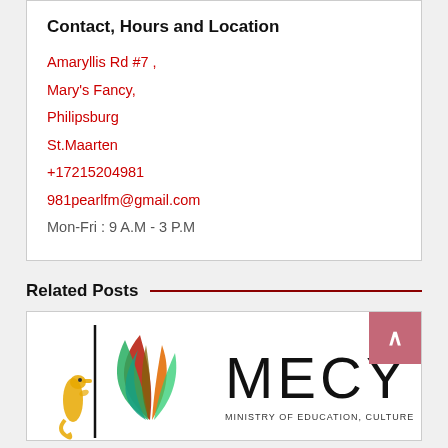Contact, Hours and Location
Amaryllis Rd #7 ,
Mary's Fancy,
Philipsburg
St.Maarten
+17215204981
981pearlfm@gmail.com
Mon-Fri : 9 A.M - 3 P.M
Related Posts
[Figure (logo): MECY Ministry of Education Culture Youth logo with flame/leaf graphic and small seahorse icon]